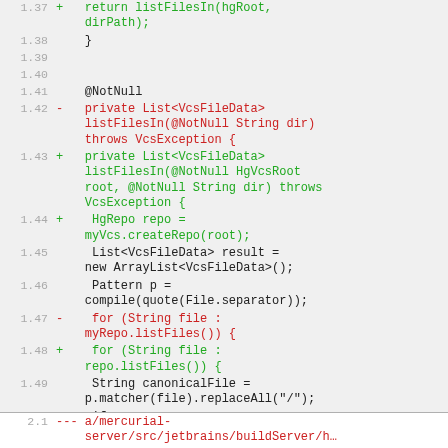[Figure (screenshot): Code diff view showing changes to a Java file. Lines 1.37-1.51 show modifications to a listFilesIn method, with removed lines in red and added lines in green. Line 1.37: added 'return listFilesIn(hgRoot, dirPath);', line 1.38: '}', lines 1.39-1.40 empty, line 1.41: '@NotNull', line 1.42 removed: private List<VcsFileData> listFilesIn(@NotNull String dir) throws VcsException {, line 1.43 added: private List<VcsFileData> listFilesIn(@NotNull HgVcsRoot root, @NotNull String dir) throws VcsException {, line 1.44 added: HgRepo repo = myVcs.createRepo(root);, line 1.45: List<VcsFileData> result = new ArrayList<VcsFileData>();, line 1.46: Pattern p = compile(quote(File.separator));, line 1.47 removed: for (String file : myRepo.listFiles()) {, line 1.48 added: for (String file : repo.listFiles()) {, line 1.49: String canonicalFile = p.matcher(file).replaceAll("/");, line 1.50: if (!canonicalFile.startsWith(dir)), line 1.51: continue;. Bottom section line 2.1: --- a/mercurial-server/src/jetbrains/buildServer/h...]